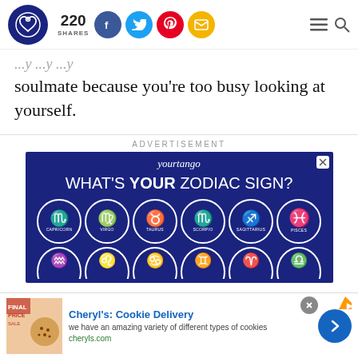220 SHARES [social icons: Facebook, Twitter, Pinterest, Email] [menu] [search]
soulmate because you’re too busy looking at yourself.
ADVERTISEMENT
[Figure (screenshot): YourTango advertisement banner with dark blue background showing 'WHAT'S YOUR ZODIAC SIGN?' with zodiac symbol circles for Capricorn, Virgo, Taurus, Scorpio, Sagittarius, Pisces, and a second row partially visible]
[Figure (screenshot): Bottom banner ad for Cheryl's Cookie Delivery: 'we have an amazing variety of different types of cookies' cheryls.com with cookie image and blue arrow button]